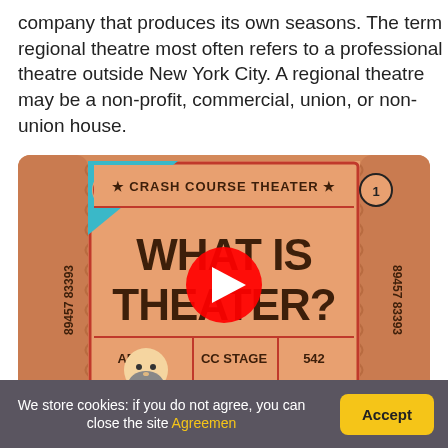company that produces its own seasons. The term regional theatre most often refers to a professional theatre outside New York City. A regional theatre may be a non-profit, commercial, union, or non-union house.
[Figure (screenshot): YouTube video thumbnail for 'Crash Course Theater' episode titled 'WHAT IS THEATER?' showing a ticket-style graphic with CC logo, ticket number 89457 83393, ADMIT, CC STAGE, seat 542, barcode, and a cartoon bearded man figure. A YouTube play button overlay is visible in the center.]
We store cookies: if you do not agree, you can close the site Agreemen